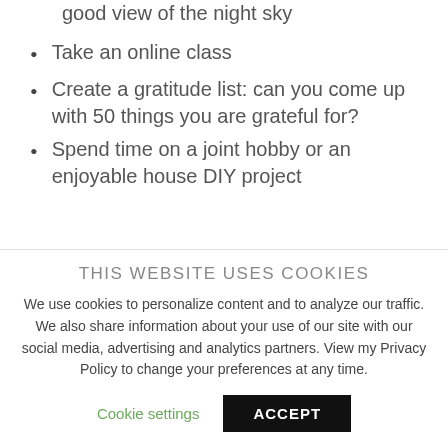good view of the night sky
Take an online class
Create a gratitude list: can you come up with 50 things you are grateful for?
Spend time on a joint hobby or an enjoyable house DIY project
THIS WEBSITE USES COOKIES
We use cookies to personalize content and to analyze our traffic. We also share information about your use of our site with our social media, advertising and analytics partners. View my Privacy Policy to change your preferences at any time.
Cookie settings   ACCEPT